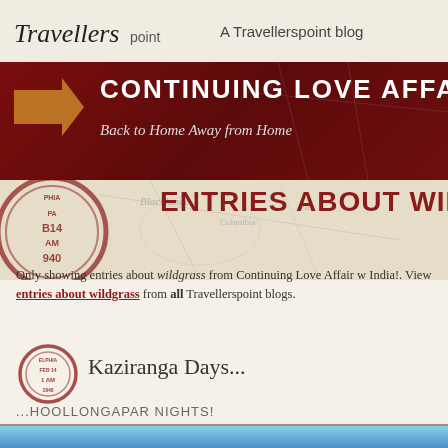Travellerspoint — A Travellerspoint blog
CONTINUING LOVE AFFAIR
Back to Home Away from Home
ENTRIES ABOUT WILDGRASS
Only showing entries about wildgrass from Continuing Love Affair w India!. View entries about wildgrass from all Travellerspoint blogs.
Kaziranga Days...
...HOOLLONGAPAR NIGHTS!
18.02.2014 - 21.03.2014    26 °C
[Figure (photo): Blue sky photo strip at bottom of page]